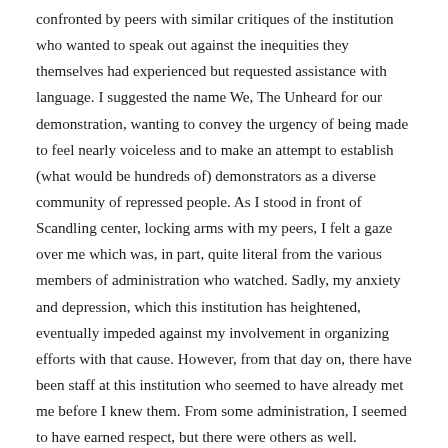confronted by peers with similar critiques of the institution who wanted to speak out against the inequities they themselves had experienced but requested assistance with language. I suggested the name We, The Unheard for our demonstration, wanting to convey the urgency of being made to feel nearly voiceless and to make an attempt to establish (what would be hundreds of) demonstrators as a diverse community of repressed people. As I stood in front of Scandling center, locking arms with my peers, I felt a gaze over me which was, in part, quite literal from the various members of administration who watched. Sadly, my anxiety and depression, which this institution has heightened, eventually impeded against my involvement in organizing efforts with that cause. However, from that day on, there have been staff at this institution who seemed to have already met me before I knew them. From some administration, I seemed to have earned respect, but there were others as well.